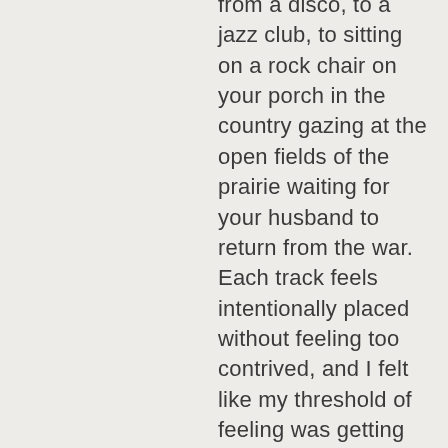transported from a disco, to a jazz club, to sitting on a rock chair on your porch in the country gazing at the open fields of the prairie waiting for your husband to return from the war. Each track feels intentionally placed without feeling too contrived, and I felt like my threshold of feeling was getting stronger and stronger as each track went by, if...